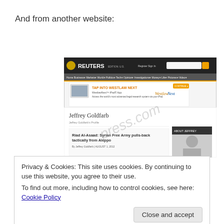And from another website:
[Figure (screenshot): Screenshot of Reuters website showing a Jeffrey Goldfarb author page with article headline 'Riad Al-Asaad: Syrian Free Army pulls back tactically from Aleppo', with a WestlawNext advertisement banner, and a watermark overlay reading 'press.com']
Privacy & Cookies: This site uses cookies. By continuing to use this website, you agree to their use.
To find out more, including how to control cookies, see here: Cookie Policy
Close and accept